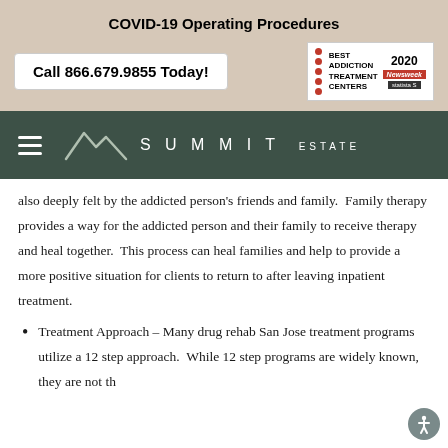COVID-19 Operating Procedures
Call 866.679.9855 Today!
[Figure (logo): Best Addiction Treatment Centers 2020 Newsweek Statista award badge]
[Figure (logo): Summit Estate logo with mountain graphic and hamburger menu icon]
also deeply felt by the addicted person's friends and family.  Family therapy provides a way for the addicted person and their family to receive therapy and heal together.  This process can heal families and help to provide a more positive situation for clients to return to after leaving inpatient treatment.
Treatment Approach – Many drug rehab San Jose treatment programs utilize a 12 step approach.  While 12 step programs are widely known, they are not th